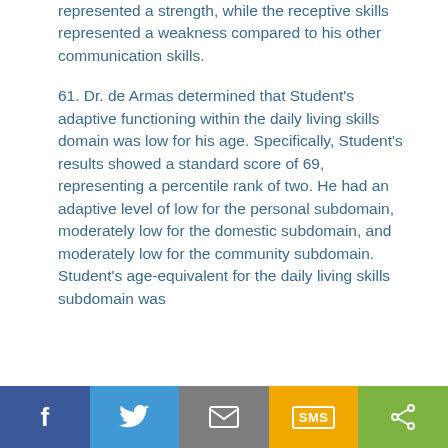represented a strength, while the receptive skills represented a weakness compared to his other communication skills.
61. Dr. de Armas determined that Student's adaptive functioning within the daily living skills domain was low for his age. Specifically, Student's results showed a standard score of 69, representing a percentile rank of two. He had an adaptive level of low for the personal subdomain, moderately low for the domestic subdomain, and moderately low for the community subdomain. Student's age-equivalent for the daily living skills subdomain was
f  [twitter]  [email]  SMS  [share]